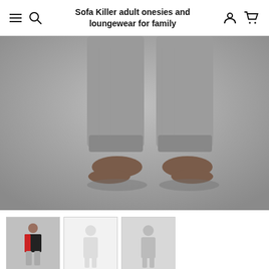Sofa Killer adult onesies and loungewear for family
[Figure (photo): Lower body of a man wearing grey sweatpants/loungewear, standing barefoot against a grey background. The photo is cropped showing from waist down.]
[Figure (photo): Thumbnail 1: Full body shot of a man in black/red onesie with grey bottoms]
[Figure (photo): Thumbnail 2: White/light grey background product image]
[Figure (photo): Thumbnail 3: Grey background product image]